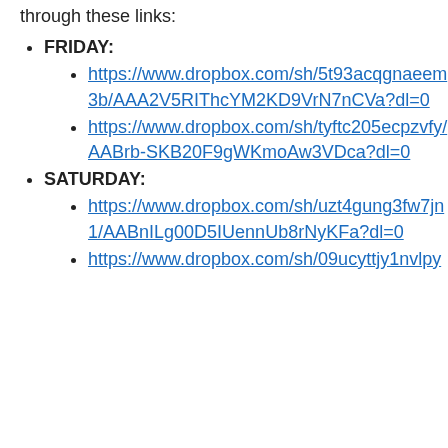High quality photos of Scott Fairroot are available through these links:
FRIDAY:
https://www.dropbox.com/sh/5t93acqgnaeem3b/AAA2V5RIThcYM2KD9VrN7nCVa?dl=0
https://www.dropbox.com/sh/tyftc205ecpzvfy/AABrb-SKB20F9gWKmoAw3VDca?dl=0
SATURDAY:
https://www.dropbox.com/sh/uzt4gung3fw7jn1/AABnILg00D5IUennUb8rNyKFa?dl=0
https://www.dropbox.com/sh/09ucyttjy1nvlpy